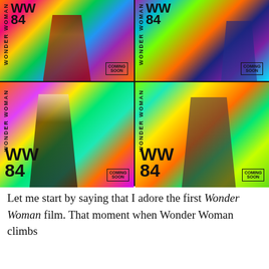[Figure (photo): A 2x2 grid of four WW84 (Wonder Woman 1984) promotional movie posters, each featuring a different character against a colorful rainbow burst background. Each poster has the 'WW84' logo and 'COMING SOON' text. Top-left: Wonder Woman in golden armor. Top-right: figure in dark blue suit. Bottom-left: blonde woman in dark lace outfit. Bottom-right: man in suit pointing at camera.]
Let me start by saying that I adore the first Wonder Woman film. That moment when Wonder Woman climbs